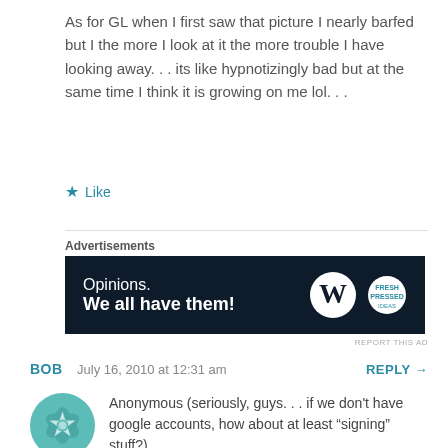As for GL when I first saw that picture I nearly barfed but I the more I look at it the more trouble I have looking away. . . its like hypnotizingly bad but at the same time I think it is growing on me lol. . .
★ Like
Advertisements
[Figure (other): Advertisement banner with dark navy background. Text reads: 'Opinions. We all have them!' with WordPress logo (W in circle) and another circular logo on the right.]
REPORT THIS AD
BOB   July 16, 2010 at 12:31 am   REPLY →
[Figure (illustration): Teal geometric mandala/flower pattern avatar icon]
Anonymous (seriously, guys. . . if we don't have google accounts, how about at least "signing" stuff?),